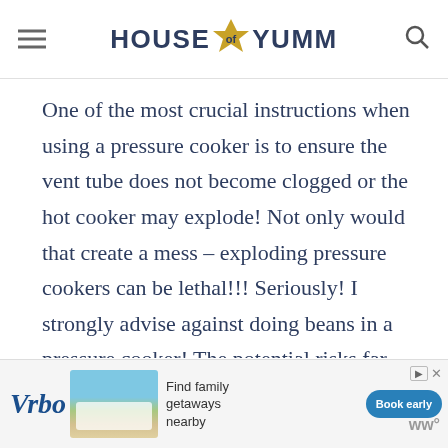HOUSE OF YUMM
One of the most crucial instructions when using a pressure cooker is to ensure the vent tube does not become clogged or the hot cooker may explode! Not only would that create a mess – exploding pressure cookers can be lethal!!! Seriously! I strongly advise against doing beans in a pressure cooker! The potential risks far outweigh the few minutes ou can shave off the cooking time. My best
[Figure (other): Vrbo advertisement banner with beach house image, text 'Find family getaways nearby' and 'Book early' button]